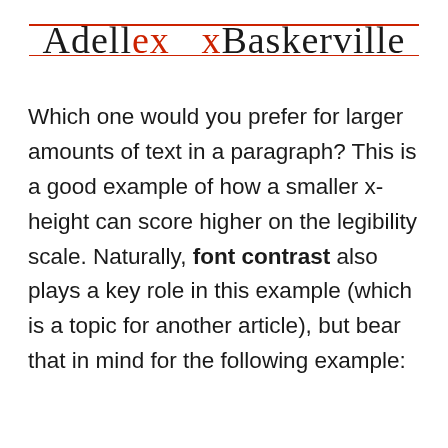Adellex  xBaskerville
Which one would you prefer for larger amounts of text in a paragraph? This is a good example of how a smaller x-height can score higher on the legibility scale. Naturally, font contrast also plays a key role in this example (which is a topic for another article), but bear that in mind for the following example: